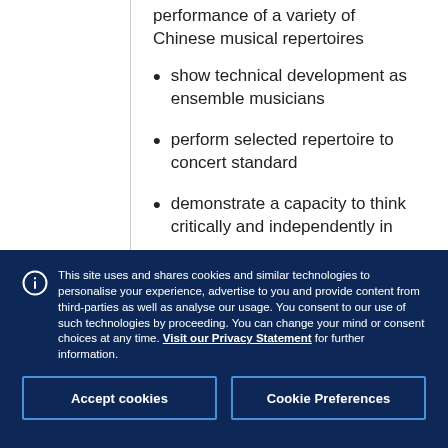performance of a variety of Chinese musical repertoires
show technical development as ensemble musicians
perform selected repertoire to concert standard
demonstrate a capacity to think critically and independently in
This site uses and shares cookies and similar technologies to personalise your experience, advertise to you and provide content from third-parties as well as analyse our usage. You consent to our use of such technologies by proceeding. You can change your mind or consent choices at any time. Visit our Privacy Statement for further information.
Accept cookies
Cookie Preferences